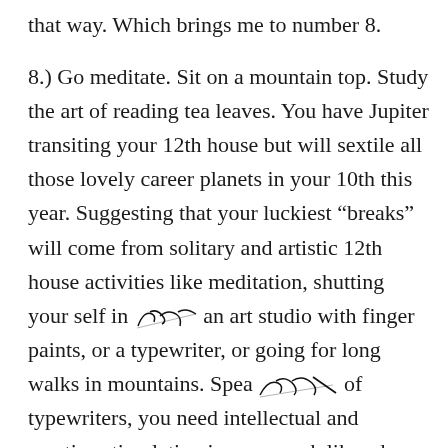that way. Which brings me to number 8.
8.) Go meditate. Sit on a mountain top. Study the art of reading tea leaves. You have Jupiter transiting your 12th house but will sextile all those lovely career planets in your 10th this year. Suggesting that your luckiest “breaks” will come from solitary and artistic 12th house activities like meditation, shutting your self in an art studio with finger paints, or a typewriter, or going for long walks in mountains. Speaking of typewriters, you need intellectual and creative stimulation in your work like a horse needs water. Have you thought about writing about your career misadventures, starting a blog etc?